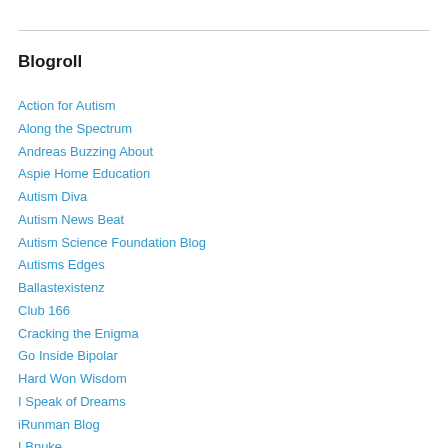Blogroll
Action for Autism
Along the Spectrum
Andreas Buzzing About
Aspie Home Education
Autism Diva
Autism News Beat
Autism Science Foundation Blog
Autisms Edges
Ballastexistenz
Club 166
Cracking the Enigma
Go Inside Bipolar
Hard Won Wisdom
I Speak of Dreams
iRunman Blog
LBnuke